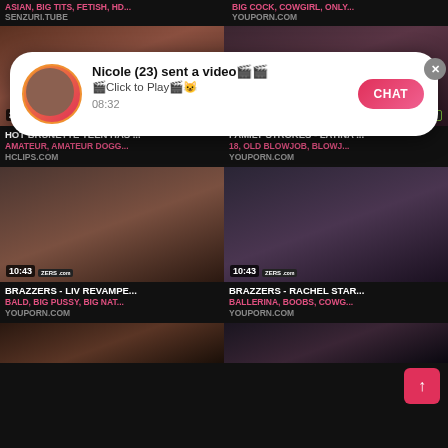ASIAN, BIG TITS, FETISH, HD...
SENZURI.TUBE
BIG COCK, COWGIRL, ONLY...
YOUPORN.COM
[Figure (screenshot): Popup notification: Nicole (23) sent a video. Click to Play. 08:32. CHAT button.]
[Figure (screenshot): Video thumbnail: HOT BRUNETTE TEEN HAS... duration 20:40]
HOT BRUNETTE TEEN HAS ...
AMATEUR, AMATEUR DOGG...
HCLIPS.COM
[Figure (screenshot): Video thumbnail: FAMILY STROKES - LATINA ... duration 13:28]
FAMILY STROKES - LATINA ...
18, OLD BLOWJOB, BLOWJ...
YOUPORN.COM
[Figure (screenshot): Video thumbnail: BRAZZERS - LIV REVAMPE... duration 10:43]
BRAZZERS - LIV REVAMPE...
BALD, BIG PUSSY, BIG NAT...
YOUPORN.COM
[Figure (screenshot): Video thumbnail: BRAZZERS - RACHEL STAR... duration 10:43]
BRAZZERS - RACHEL STAR...
BALLERINA, BOOBS, COWG...
YOUPORN.COM